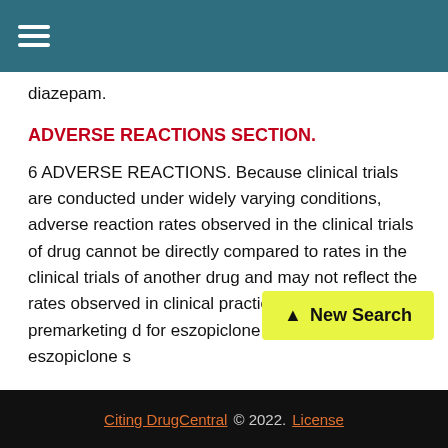≡ (hamburger menu icon)
diazepam.
ADVERSE REACTIONS SECTION.
6 ADVERSE REACTIONS. Because clinical trials are conducted under widely varying conditions, adverse reaction rates observed in the clinical trials of drug cannot be directly compared to rates in the clinical trials of another drug and may not reflect the rates observed in clinical practice. The premarketing d[atabase] for eszopiclone included eszopiclone [subjects] and [compared clinical data across]
Citing DrugCentral © 2022. License